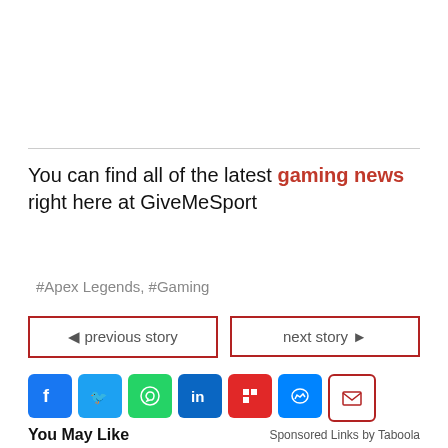You can find all of the latest gaming news right here at GiveMeSport
#Apex Legends, #Gaming
◄ previous story
next story ►
[Figure (infographic): Row of social media share icons: Facebook, Twitter, WhatsApp, LinkedIn, Flipboard, Messenger, Email]
You May Like   Sponsored Links by Taboola